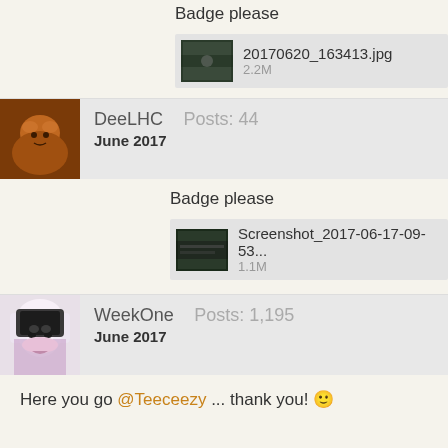Badge please
[Figure (screenshot): Attachment thumbnail for 20170620_163413.jpg, 2.2M]
DeeLHC  Posts: 44
June 2017
Badge please
[Figure (screenshot): Attachment thumbnail for Screenshot_2017-06-17-09-53..., 1.1M]
WeekOne  Posts: 1,195
June 2017
Here you go @Teeceezy ... thank you! 🙂